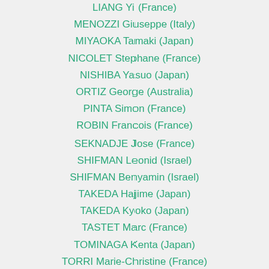LIANG Yi (France)
MENOZZI Giuseppe (Italy)
MIYAOKA Tamaki (Japan)
NICOLET Stephane (France)
NISHIBA Yasuo (Japan)
ORTIZ George (Australia)
PINTA Simon (France)
ROBIN Francois (France)
SEKNADJE Jose (France)
SHIFMAN Leonid (Israel)
SHIFMAN Benyamin (Israel)
TAKEDA Hajime (Japan)
TAKEDA Kyoko (Japan)
TASTET Marc (France)
TOMINAGA Kenta (Japan)
TORRI Marie-Christine (France)